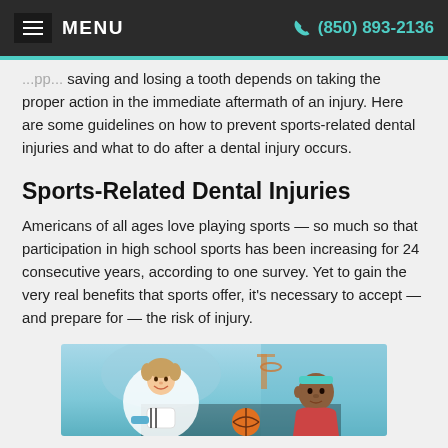MENU  (850) 893-2136
saving and losing a tooth depends on taking the proper action in the immediate aftermath of an injury. Here are some guidelines on how to prevent sports-related dental injuries and what to do after a dental injury occurs.
Sports-Related Dental Injuries
Americans of all ages love playing sports — so much so that participation in high school sports has been increasing for 24 consecutive years, according to one survey. Yet to gain the very real benefits that sports offer, it's necessary to accept — and prepare for — the risk of injury.
[Figure (illustration): Cartoon illustration of two athletes, one lighter-skinned with a basket and one darker-skinned with a headband, appearing to be on a basketball court]